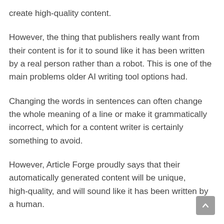create high-quality content.
However, the thing that publishers really want from their content is for it to sound like it has been written by a real person rather than a robot. This is one of the main problems older AI writing tool options had.
Changing the words in sentences can often change the whole meaning of a line or make it grammatically incorrect, which for a content writer is certainly something to avoid.
However, Article Forge proudly says that their automatically generated content will be unique, high-quality, and will sound like it has been written by a human.
Sound too good to be true? Let’s find out.